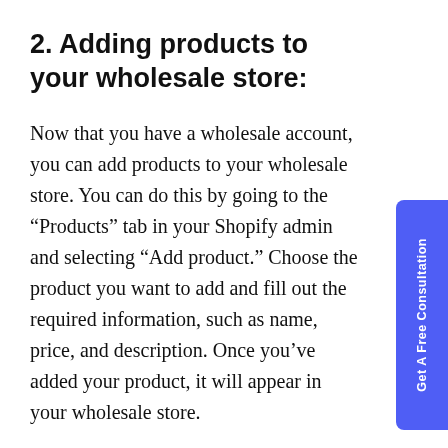2. Adding products to your wholesale store:
Now that you have a wholesale account, you can add products to your wholesale store. You can do this by going to the “Products” tab in your Shopify admin and selecting “Add product.” Choose the product you want to add and fill out the required information, such as name, price, and description. Once you’ve added your product, it will appear in your wholesale store.
3. Managing inventory in the wholesale channel: